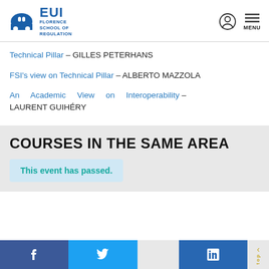EUI Florence School of Regulation
Technical Pillar – GILLES PETERHANS
FSI's view on Technical Pillar – ALBERTO MAZZOLA
An Academic View on Interoperability – LAURENT GUIHÉRY
COURSES IN THE SAME AREA
This event has passed.
Facebook Twitter LinkedIn Top